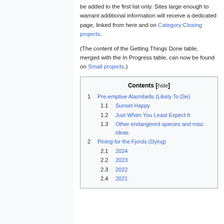be added to the first list only. Sites large enough to warrant additional information will receive a dedicated page, linked from here and on Category:Closing projects.
(The content of the Getting Things Done table, merged with the In Progress table, can now be found on Small projects.)
| Contents [hide] |
| --- |
| 1 | Pre-emptive Alarmbells (Likely To Die) |
| 1.1 | Sunset Happy |
| 1.2 | Just When You Least Expect It |
| 1.3 | Other endangered species and misc ideas |
| 2 | Pining for the Fjords (Dying) |
| 2.1 | 2024 |
| 2.2 | 2023 |
| 2.3 | 2022 |
| 2.4 | 2021 |